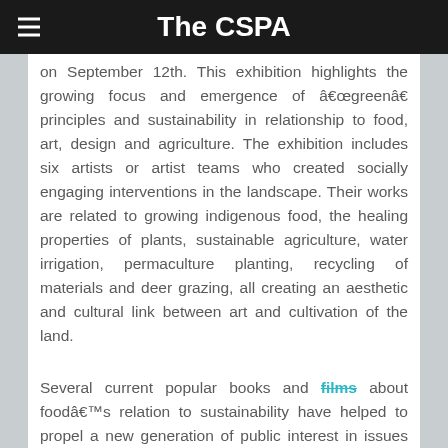The CSPA
on September 12th. This exhibition highlights the growing focus and emergence of “green” principles and sustainability in relationship to food, art, design and agriculture. The exhibition includes six artists or artist teams who created socially engaging interventions in the landscape. Their works are related to growing indigenous food, the healing properties of plants, sustainable agriculture, water irrigation, permaculture planting, recycling of materials and deer grazing, all creating an aesthetic and cultural link between art and cultivation of the land.
Several current popular books and films about food’s relation to sustainability have helped to propel a new generation of public interest in issues related to organic growing, heirloom seeds, eating and purchasing local food, farmers markets and back yard vegetable gardens. Also being investigated in the media are the negative consequences of monoculture planting and factory farming practices, and the inhumane treatment of livestock in industrial agriculture. The economic